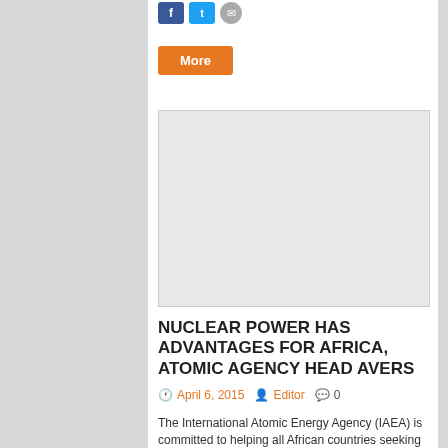[Figure (other): Social share buttons: Facebook (blue), Twitter (blue), Email (grey circle)]
More
[Figure (photo): Placeholder image area (light grey rectangle)]
NUCLEAR POWER HAS ADVANTAGES FOR AFRICA, ATOMIC AGENCY HEAD AVERS
April 6, 2015   Editor   0
The International Atomic Energy Agency (IAEA) is committed to helping all African countries seeking to adopt nuclear energy.